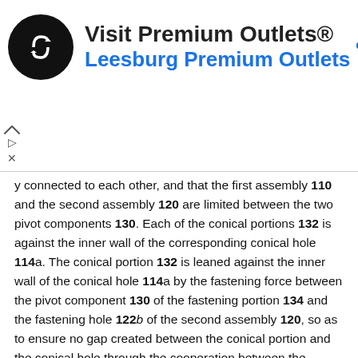[Figure (infographic): Advertisement banner for Visit Premium Outlets® / Leesburg Premium Outlets with a circular black logo containing a double arrow symbol, the outlet name text, and a blue navigation/directions diamond icon on the right. Small play and X controls on the left side.]
y connected to each other, and that the first assembly 110 and the second assembly 120 are limited between the two pivot components 130. Each of the conical portions 132 is against the inner wall of the corresponding conical hole 114a. The conical portion 132 is leaned against the inner wall of the conical hole 114a by the fastening force between the pivot component 130 of the fastening portion 134 and the fastening hole 122b of the second assembly 120, so as to ensure no gap created between the conical portion and the conical hole through the cooperation between the conical portion 132 and conical hole 114a. As such, when the rider performs stand-up pedaling, a gap is not created between the first assembly 110 and the second assembly 120 owing to the movement of lifting the handles (e.g. stand-up pedaling), the rigidity of the shock absorption device 100 is thus maintained.
In this embodiment, the shock absorption device 100 further includes a fastening component 150. The first assembly 110 illustrated as FIG. 3 has a through hole 114b. The through hole 114b is connected between the two conical holes 114a. The fastening component 150 passes through the through hole 114b to be fastened between to components 130.